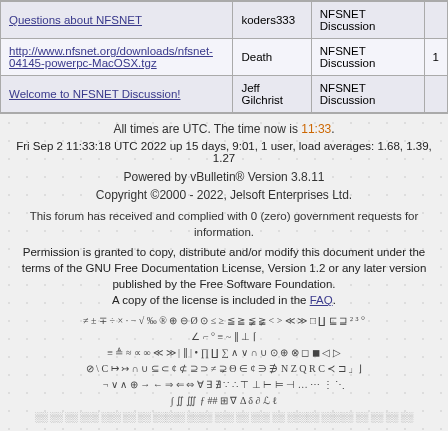| Topic | Author | Forum |  |
| --- | --- | --- | --- |
| Questions about NFSNET | koders333 | NFSNET Discussion |  |
| http://www.nfsnet.org/downloads/nfsnet-04145-powerpc-MacOSX.tgz | Death | NFSNET Discussion | 1 |
| Welcome to NFSNET Discussion! | Jeff Gilchrist | NFSNET Discussion |  |
All times are UTC. The time now is 11:33.
Fri Sep 2 11:33:18 UTC 2022 up 15 days, 9:01, 1 user, load averages: 1.68, 1.39, 1.27
Powered by vBulletin® Version 3.8.11
Copyright ©2000 - 2022, Jelsoft Enterprises Ltd.
This forum has received and complied with 0 (zero) government requests for information.
Permission is granted to copy, distribute and/or modify this document under the terms of the GNU Free Documentation License, Version 1.2 or any later version published by the Free Software Foundation.
A copy of the license is included in the FAQ.
≠ ± ∓ ÷ × · − √ ‰ ® ⊕ ⊖ Ø ⊙ ≤ ≥ ≦ ≧ ≨ ≩ < > ≪ ≫ □ ∐ ⊑ ⊒ ² ³ °
∠ ⌐ º ≡ ~ ‖ ⊥ ⌈
≡ ≜ ≈ ∝ ∞ ≪ ≫ | ‖ | • ∏ ∐ ∑ ∧ ∨ ∩ ∪ ⊙ ⊕ ⊗ ◻ ◼ ◁ ▷
⊘ \ C ↦ ↣ ∩ ∪ ⊆ ⊂ ¢ ⊄ ⊇ ⊃ ≠ ⊋ Θ ∈ ¢ ∋ ∌ N Z Q R C ≺ ⊐ 」⌋
¬ ∨ ∧ ⊕ → ← ⇒ ⇐ ⇔ ∀ ∃ ∄ ∵ ∴ ⊤ ⊥ ⊢ ⊨ ⊣ ... ⋯ ⋮ ⋱
∫ ∬ ∭ ƒ ## ⊞ ∇ Δ δ ∂ ℒ ℓ